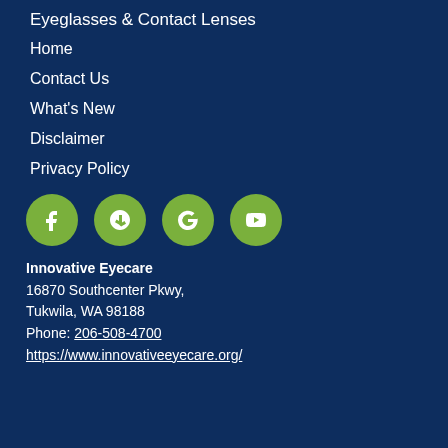Eyeglasses & Contact Lenses
Home
Contact Us
What's New
Disclaimer
Privacy Policy
[Figure (infographic): Row of four green circular social media icons: Facebook (f), Yelp (star/burst), Google (G), YouTube (play triangle)]
Innovative Eyecare
16870 Southcenter Pkwy,
Tukwila, WA 98188
Phone: 206-508-4700
https://www.innovativeeyecare.org/